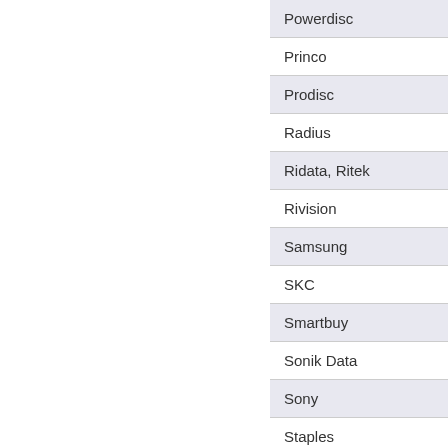| Powerdisc |
| Princo |
| Prodisc |
| Radius |
| Ridata, Ritek |
| Rivision |
| Samsung |
| SKC |
| Smartbuy |
| Sonik Data |
| Sony |
| Staples |
| TDK |
| Teon |